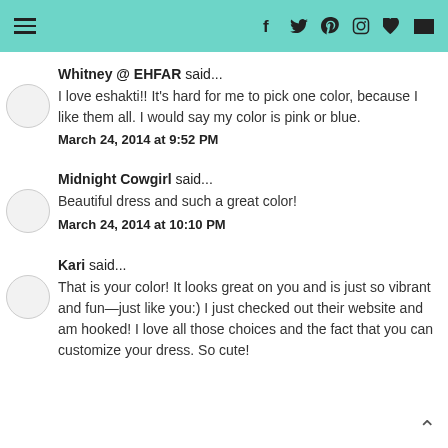Navigation and social icons header
Whitney @ EHFAR said...
I love eshakti!! It's hard for me to pick one color, because I like them all. I would say my color is pink or blue.
March 24, 2014 at 9:52 PM
Midnight Cowgirl said...
Beautiful dress and such a great color!
March 24, 2014 at 10:10 PM
Kari said...
That is your color! It looks great on you and is just so vibrant and fun—just like you:) I just checked out their website and am hooked! I love all those choices and the fact that you can customize your dress. So cute!